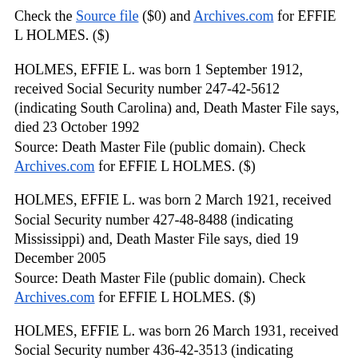Check the Source file ($0) and Archives.com for EFFIE L HOLMES. ($)
HOLMES, EFFIE L. was born 1 September 1912, received Social Security number 247-42-5612 (indicating South Carolina) and, Death Master File says, died 23 October 1992 Source: Death Master File (public domain). Check Archives.com for EFFIE L HOLMES. ($)
HOLMES, EFFIE L. was born 2 March 1921, received Social Security number 427-48-8488 (indicating Mississippi) and, Death Master File says, died 19 December 2005 Source: Death Master File (public domain). Check Archives.com for EFFIE L HOLMES. ($)
HOLMES, EFFIE L. was born 26 March 1931, received Social Security number 436-42-3513 (indicating Louisiana) and, Death Master File says, died 17 June 2007